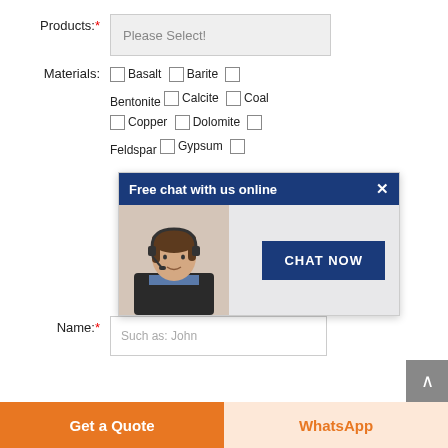Products: *  Please Select!
Materials:  Basalt  Barite  Bentonite  Calcite  Coal  Copper  Dolomite  Feldspar  Gypsum
[Figure (screenshot): Chat popup: 'Free chat with us online' header with close button, woman with headset, 'CHAT NOW' button]
> 30 TPH  > 10 TPH  > 1 TPH  < 1 TPH
Name: *  Such as: John
Get a Quote
WhatsApp